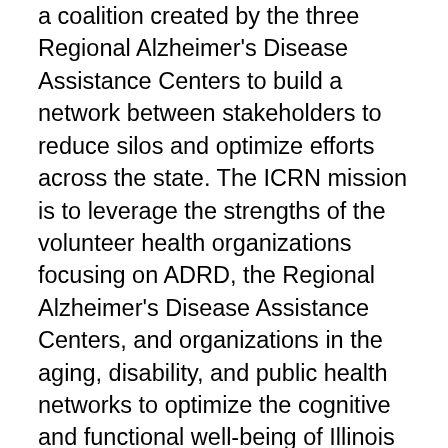a coalition created by the three Regional Alzheimer's Disease Assistance Centers to build a network between stakeholders to reduce silos and optimize efforts across the state. The ICRN mission is to leverage the strengths of the volunteer health organizations focusing on ADRD, the Regional Alzheimer's Disease Assistance Centers, and organizations in the aging, disability, and public health networks to optimize the cognitive and functional well-being of Illinois residents and their families. In 2021, the ICRN continued its work to advance Dementia Friendly Illinois and Dementia Friends Illinois efforts throughout the state. The ICRN supports information exchange platforms, including hosting 10 virtual meetings in the last year among members for planning purposes. The ICRN also maintains content on a web-based education and resource platform (ilbrainhealth.org). While some efforts were reduced as a result of the